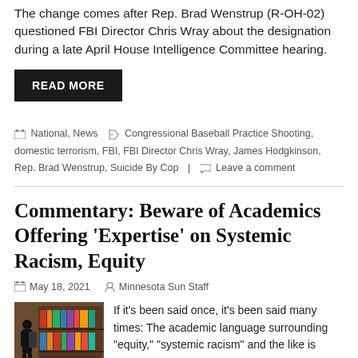The change comes after Rep. Brad Wenstrup (R-OH-02) questioned FBI Director Chris Wray about the designation during a late April House Intelligence Committee hearing.
READ MORE
National, News  Congressional Baseball Practice Shooting, domestic terrorism, FBI, FBI Director Chris Wray, James Hodgkinson, Rep. Brad Wenstrup, Suicide By Cop  |  Leave a comment
Commentary: Beware of Academics Offering 'Expertise' on Systemic Racism, Equity
May 18, 2021   Minnesota Sun Staff
If it's been said once, it's been said many times: The academic language surrounding "equity," "systemic racism" and the like is